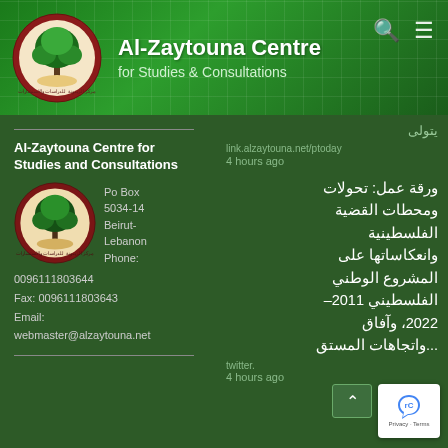Al-Zaytouna Centre for Studies & Consultations
link.alzaytouna.net/ptoday
4 hours ago
Al-Zaytouna Centre for Studies and Consultations
Po Box 5034-14
Beirut-Lebanon
Phone:
0096111803644
Fax: 0096111803643
Email:
webmaster@alzaytouna.net
ورقة عمل: تحولات ومحطات القضية الفلسطينية وانعكاساتها على المشروع الوطني الفلسطيني 2011–2022، وآفاق ...واتجاهات المستق
twitter.
4 hours ago